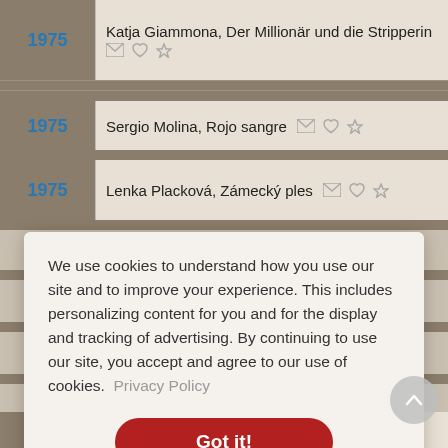1975 — Katja Giammona, Der Millionär und die Stripperin
1975 — Sergio Molina, Rojo sangre
1975 — Lenka Placková, Zámecký ples
We use cookies to understand how you use our site and to improve your experience. This includes personalizing content for you and for the display and tracking of advertising. By continuing to use our site, you accept and agree to our use of cookies. Privacy Policy
Got it!
Eduardo Nájera, Mexican-born basketball player